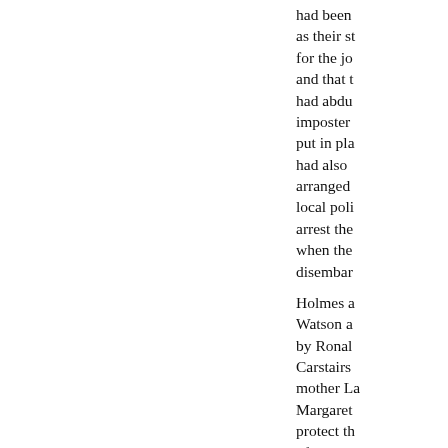had been as their st for the jo and that t had abdu imposter put in pla had also arranged local poli arrest the when the disembar Holmes a Watson a by Ronal Carstairs mother La Margaret protect th of Rhodes diamond train trip London to Scotland